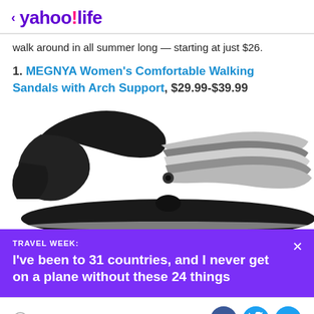< yahoo!life
walk around in all summer long — starting at just $26.
1. MEGNYA Women's Comfortable Walking Sandals with Arch Support, $29.99-$39.99
[Figure (photo): Close-up photo of a black and grey braided strap sandal with a black sole, shown from above at an angle]
TRAVEL WEEK: I've been to 31 countries, and I never get on a plane without these 24 things
View comments